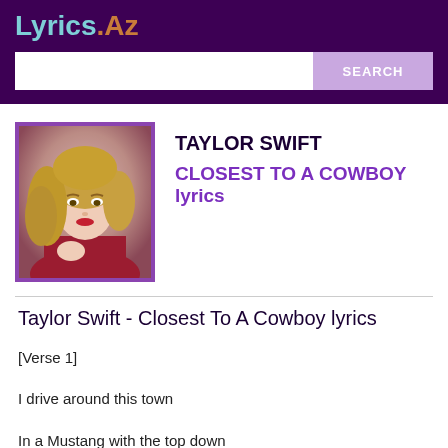Lyrics.Az
[Figure (photo): Photo of Taylor Swift with curly blonde hair wearing a red dress, framed with purple border]
TAYLOR SWIFT
CLOSEST TO A COWBOY lyrics
Taylor Swift - Closest To A Cowboy lyrics
[Verse 1]
I drive around this town
In a Mustang with the top down
And six running horses under my hood